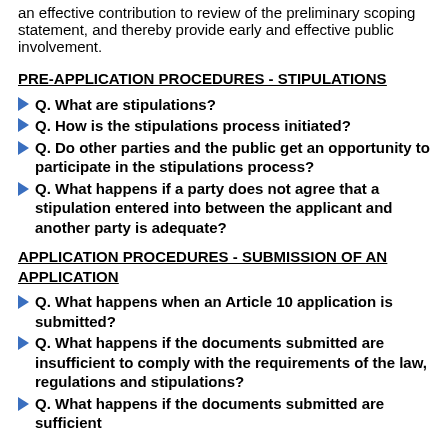an effective contribution to review of the preliminary scoping statement, and thereby provide early and effective public involvement.
PRE-APPLICATION PROCEDURES - STIPULATIONS
Q. What are stipulations?
Q. How is the stipulations process initiated?
Q. Do other parties and the public get an opportunity to participate in the stipulations process?
Q. What happens if a party does not agree that a stipulation entered into between the applicant and another party is adequate?
APPLICATION PROCEDURES - SUBMISSION OF AN APPLICATION
Q. What happens when an Article 10 application is submitted?
Q. What happens if the documents submitted are insufficient to comply with the requirements of the law, regulations and stipulations?
Q. What happens if the documents submitted are sufficient